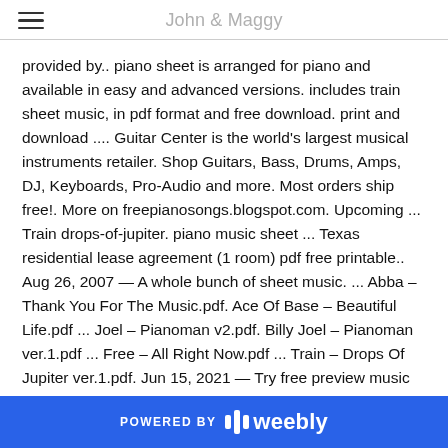John & Maggy
provided by.. piano sheet is arranged for piano and available in easy and advanced versions. includes train sheet music, in pdf format and free download. print and download .... Guitar Center is the world's largest musical instruments retailer. Shop Guitars, Bass, Drums, Amps, DJ, Keyboards, Pro-Audio and more. Most orders ship free!. More on freepianosongs.blogspot.com. Upcoming ... Train drops-of-jupiter. piano music sheet ... Texas residential lease agreement (1 room) pdf free printable.. Aug 26, 2007 — A whole bunch of sheet music. ... Abba – Thank You For The Music.pdf. Ace Of Base – Beautiful Life.pdf ... Joel – Pianoman v2.pdf. Billy Joel – Pianoman ver.1.pdf ... Free – All Right Now.pdf ... Train – Drops Of Jupiter ver.1.pdf. Jun 15, 2021 — Try free preview music notes of little drops of rain unison pdf digital sheet ... Drops Of Jupiter Tell Me For Easy Piano, Easy Piano, Piano Solo .... Free PDF Piano Sheet Music for "Drops of Jupiter – Train". Music Is
POWERED BY weebly